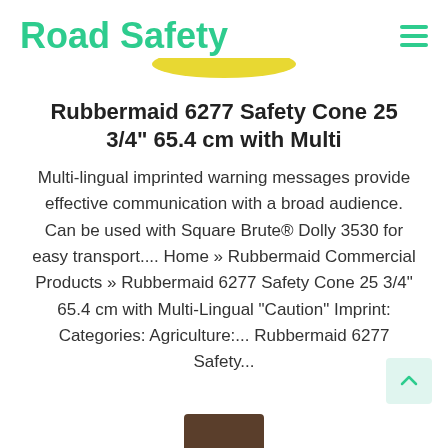Road Safety
Rubbermaid 6277 Safety Cone 25 3/4" 65.4 cm with Multi
Multi-lingual imprinted warning messages provide effective communication with a broad audience. Can be used with Square Brute® Dolly 3530 for easy transport.... Home » Rubbermaid Commercial Products » Rubbermaid 6277 Safety Cone 25 3/4" 65.4 cm with Multi-Lingual "Caution" Imprint: Categories: Agriculture:... Rubbermaid 6277 Safety...